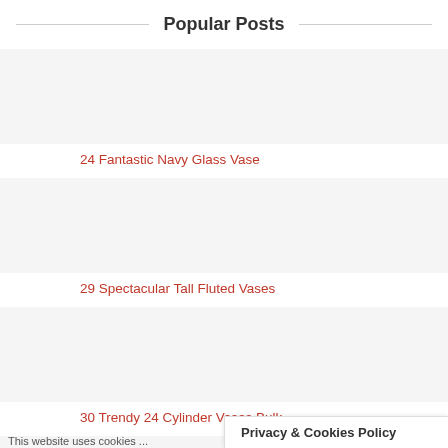Popular Posts
24 Fantastic Navy Glass Vase
29 Spectacular Tall Fluted Vases
30 Trendy 24 Cylinder Vases Bulk
13 Lovable Vintage Czech Glass Vase
Privacy & Cookies Policy
This website uses cookies ...